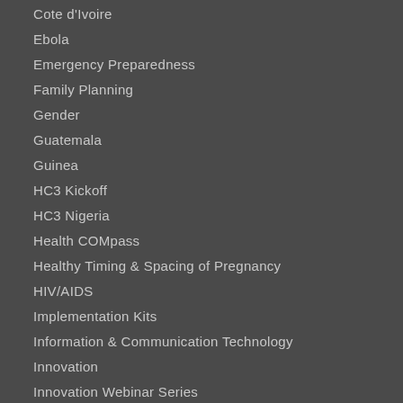Cote d'Ivoire
Ebola
Emergency Preparedness
Family Planning
Gender
Guatemala
Guinea
HC3 Kickoff
HC3 Nigeria
Health COMpass
Healthy Timing & Spacing of Pregnancy
HIV/AIDS
Implementation Kits
Information & Communication Technology
Innovation
Innovation Webinar Series
Innovation Webinars